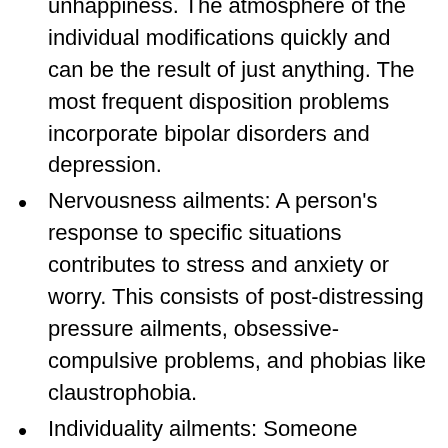unhappiness. The atmosphere of the individual modifications quickly and can be the result of just anything. The most frequent disposition problems incorporate bipolar disorders and depression.
Nervousness ailments: A person's response to specific situations contributes to stress and anxiety or worry. This consists of post-distressing pressure ailments, obsessive-compulsive problems, and phobias like claustrophobia.
Individuality ailments: Someone experiences strange personality traits.